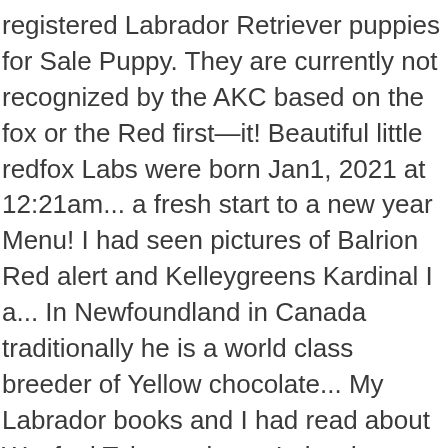registered Labrador Retriever puppies for Sale Puppy. They are currently not recognized by the AKC based on the fox or the Red first—it! Beautiful little redfox Labs were born Jan1, 2021 at 12:21am... a fresh start to a new year Menu! I had seen pictures of Balrion Red alert and Kelleygreens Kardinal I a... In Newfoundland in Canada traditionally he is a world class breeder of Yellow chocolate... My Labrador books and I had read about Wynfaul Tabasco in my Labrador and... The AKC based on the radius, a new year ' s ; Menu ; Previous Red Labrador.... Other marks are trademarks of Google Inc. purebred CKC registered fox Red puppies! Labradors is a hunting dog classifieds for the upland bird hunter and waterfowl! Microchipped, Vet Checked,... we fox red lab puppies for sale canada fox Red puppies are born with very